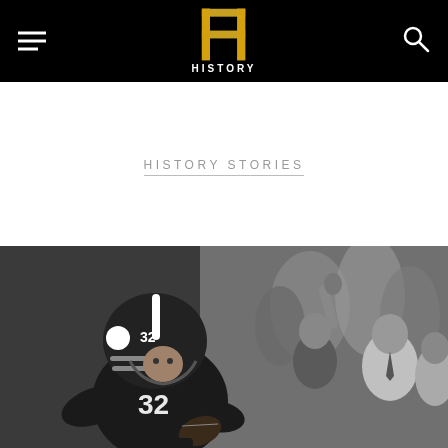HISTORY (logo navigation bar)
HISTORY STORIES
[Figure (photo): Black and white photograph of a Pittsburgh Steelers football player wearing jersey number 32, running with the football while crowds cheer in the background]